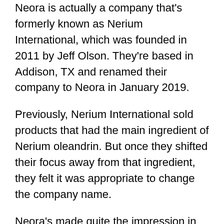Neora is actually a company that's formerly known as Nerium International, which was founded in 2011 by Jeff Olson. They're based in Addison, TX and renamed their company to Neora in January 2019.
Previously, Nerium International sold products that had the main ingredient of Nerium oleandrin. But once they shifted their focus away from that ingredient, they felt it was appropriate to change the company name.
Neora's made quite the impression in the skincare industry. While they're based in Texas, they've expanded their business across the globe to reach countries like Mexico, Hong Kong, South Korea, and Australia. You can also find their products in countries like Canada, Germany, Austria, New Zealand, and Singapore.